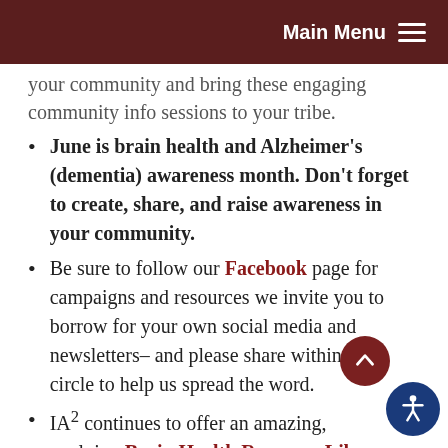Main Menu
your community and bring these engaging community info sessions to your tribe.
June is brain health and Alzheimer's (dementia) awareness month. Don't forget to create, share, and raise awareness in your community.
Be sure to follow our Facebook page for campaigns and resources we invite you to borrow for your own social media and newsletters– and please share within your circle to help us spread the word.
IA² continues to offer an amazing, evolving Brain Health Resource Library